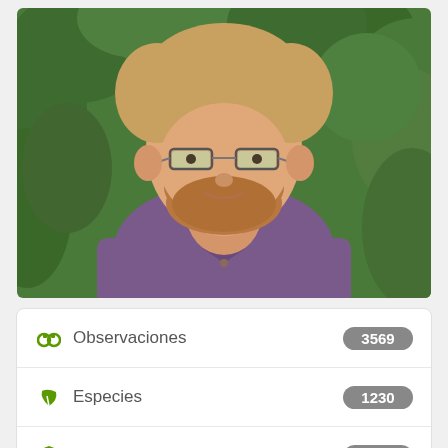[Figure (photo): Headshot of a young man with reddish-blonde hair and beard, wearing glasses and a purple button-up shirt, photographed against a green leafy background.]
| Icon | Label | Count |
| --- | --- | --- |
| binoculars icon | Observaciones | 3569 |
| leaf icon | Especies | 1230 |
| shield icon | Identificaciones | 7264 |